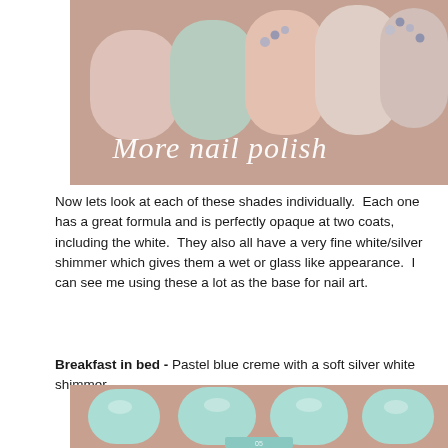[Figure (photo): Close-up photo of fingernails painted in pastel mint and pink with rhinestone nail art decorations, overlaid with cursive text 'More nail polish']
Now lets look at each of these shades individually.  Each one has a great formula and is perfectly opaque at two coats, including the white.  They also all have a very fine white/silver shimmer which gives them a wet or glass like appearance.  I can see me using these a lot as the base for nail art.
Breakfast in bed - Pastel blue creme with a soft silver white shimmer.
[Figure (photo): Close-up photo of fingernails painted in pastel mint/aqua blue nail polish, with a nail polish bottle partially visible at the bottom]